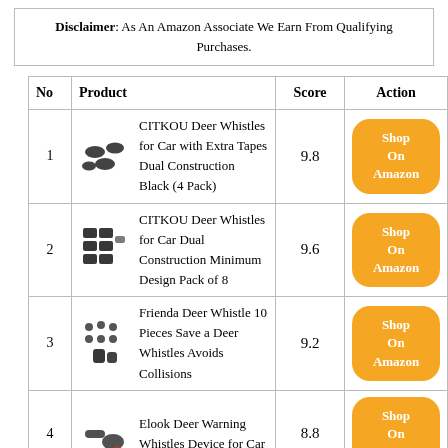Disclaimer: As An Amazon Associate We Earn From Qualifying Purchases.
| No | Product | Score | Action |
| --- | --- | --- | --- |
| 1 | CITKOU Deer Whistles for Car with Extra Tapes Dual Construction Black (4 Pack) | 9.8 | Shop On Amazon |
| 2 | CITKOU Deer Whistles for Car Dual Construction Minimum Design Pack of 8 | 9.6 | Shop On Amazon |
| 3 | Frienda Deer Whistle 10 Pieces Save a Deer Whistles Avoids Collisions | 9.2 | Shop On Amazon |
| 4 | Elook Deer Warning Whistles Device for Car | 8.8 | Shop On Amazon |
| 5 |  |  | Shop |